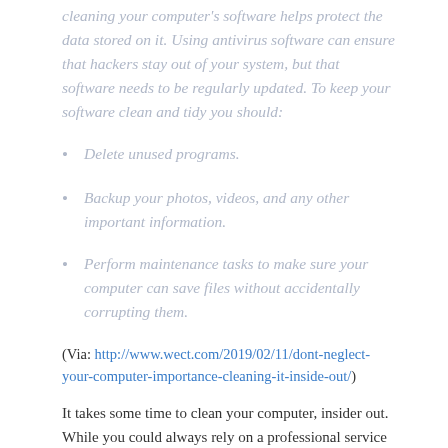cleaning your computer's software helps protect the data stored on it. Using antivirus software can ensure that hackers stay out of your system, but that software needs to be regularly updated. To keep your software clean and tidy you should:
Delete unused programs.
Backup your photos, videos, and any other important information.
Perform maintenance tasks to make sure your computer can save files without accidentally corrupting them.
(Via: http://www.wect.com/2019/02/11/dont-neglect-your-computer-importance-cleaning-it-inside-out/)
It takes some time to clean your computer, insider out. While you could always rely on a professional service to